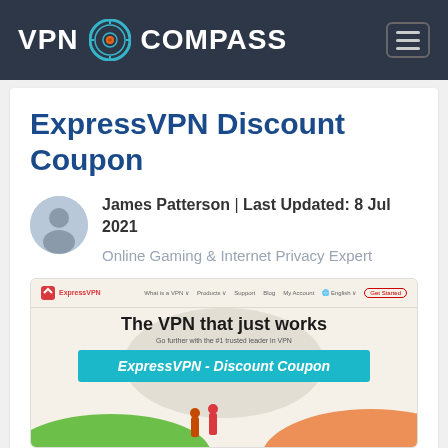VPN COMPASS
ExpressVPN Discount Coupon
James Patterson | Last Updated: 8 Jul 2021
Online Gaming & Internet Privacy Expert
[Figure (screenshot): Screenshot of ExpressVPN website homepage with tagline 'The VPN that just works' and a teal banner reading 'ExpressVPN - Discount Coupon']